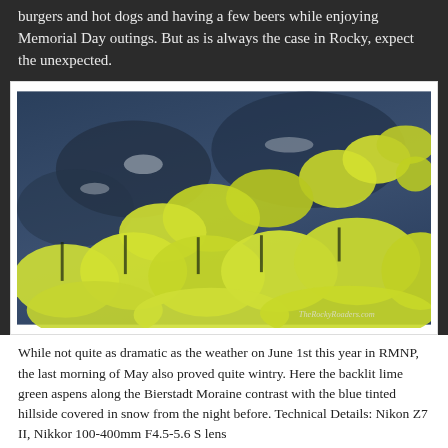burgers and hot dogs and having a few beers while enjoying Memorial Day outings. But as is always the case in Rocky, expect the unexpected.
[Figure (photo): Aerial/hillside view of lime green aspen trees contrasting with a blue-tinted snow-covered hillside at Bierstadt Moraine, RMNP. Watermark: TheRockyRoaders.com]
While not quite as dramatic as the weather on June 1st this year in RMNP, the last morning of May also proved quite wintry. Here the backlit lime green aspens along the Bierstadt Moraine contrast with the blue tinted hillside covered in snow from the night before. Technical Details: Nikon Z7 II, Nikkor 100-400mm F4.5-5.6 S lens